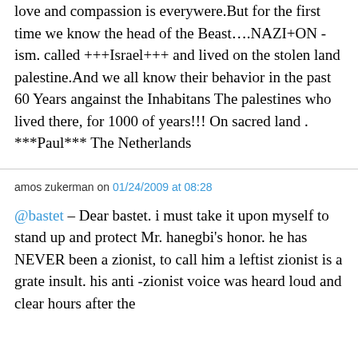love and compassion is everywere.But for the first time we know the head of the Beast….NAZI+ON -ism. called +++Israel+++ and lived on the stolen land palestine.And we all know their behavior in the past 60 Years angainst the Inhabitans The palestines who lived there, for 1000 of years!!! On sacred land . ***Paul*** The Netherlands
amos zukerman on 01/24/2009 at 08:28
@bastet – Dear bastet. i must take it upon myself to stand up and protect Mr. hanegbi's honor. he has NEVER been a zionist, to call him a leftist zionist is a grate insult. his anti -zionist voice was heard loud and clear hours after the